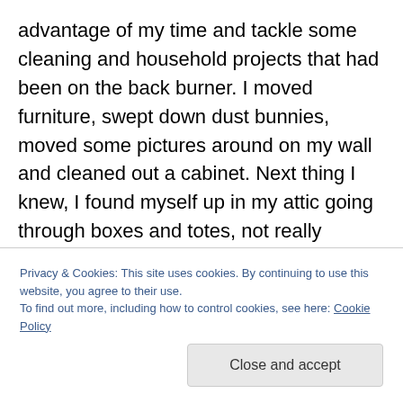advantage of my time and tackle some cleaning and household projects that had been on the back burner. I moved furniture, swept down dust bunnies, moved some pictures around on my wall and cleaned out a cabinet. Next thing I knew, I found myself up in my attic going through boxes and totes, not really looking for anything in particular, just sorting, organizing and purging items that no longer added any rhyme to my reason. I opened one tote that had several Boyd's Bears in it I was saving for my grand-daughter, and there in the bottom of the tote, I found her… my Christmas doll. I picked her up, looked into her
Privacy & Cookies: This site uses cookies. By continuing to use this website, you agree to their use. To find out more, including how to control cookies, see here: Cookie Policy